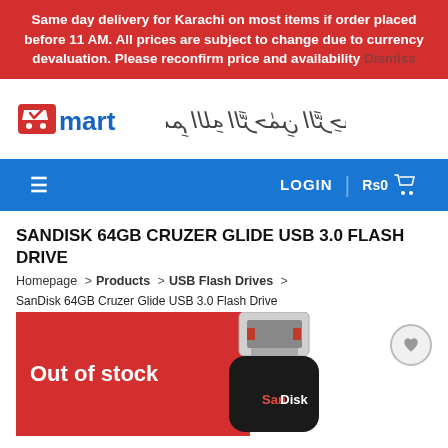Same day delivery for Karachi on most items if order placed before 11 AM. All prices are subject to change due to currency devaluation. Please reconfirm price and availability Dismiss
[Figure (logo): V-mart logo with shopping cart icon and Arabic calligraphy (Bismillah)]
≡  LOGIN  Rs0 🛒
SANDISK 64GB CRUZER GLIDE USB 3.0 FLASH DRIVE
Homepage > Products > USB Flash Drives >
SanDisk 64GB Cruzer Glide USB 3.0 Flash Drive
[Figure (photo): SanDisk 64GB Cruzer Glide USB 3.0 Flash Drive with red Out of stock overlay badge. USB connector shown at top, black body with SanDisk branding at bottom. Wishlist heart icon button on the right.]